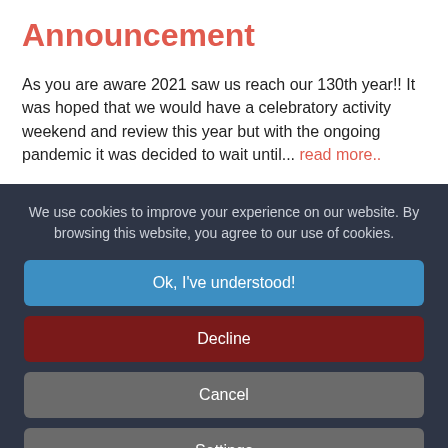Announcement
As you are aware 2021 saw us reach our 130th year!!  It was hoped that we would have a celebratory activity weekend and review this year but with the ongoing pandemic it was decided to wait until... read more..
We use cookies to improve your experience on our website. By browsing this website, you agree to our use of cookies.
Ok, I've understood!
Decline
Cancel
Settings
More Info